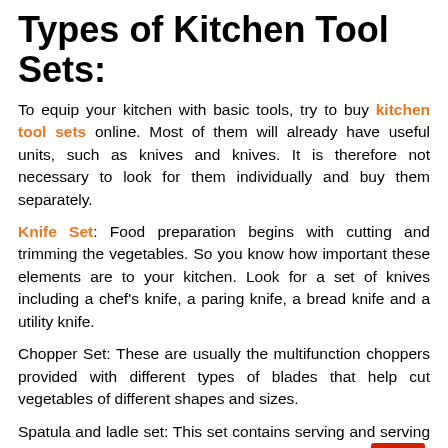Types of Kitchen Tool Sets:
To equip your kitchen with basic tools, try to buy kitchen tool sets online. Most of them will already have useful units, such as knives and knives. It is therefore not necessary to look for them individually and buy them separately.
Knife Set: Food preparation begins with cutting and trimming the vegetables. So you know how important these elements are to your kitchen. Look for a set of knives including a chef's knife, a paring knife, a bread knife and a utility knife.
Chopper Set: These are usually the multifunction choppers provided with different types of blades that help cut vegetables of different shapes and sizes.
Spatula and ladle set: This set contains serving and serving spoons. These include a turner, a slotted spatula, a [Top button], a skimmer, full spoons, a ladle and other serving spoons that help during cooking. Most of them have long handles for easy use.